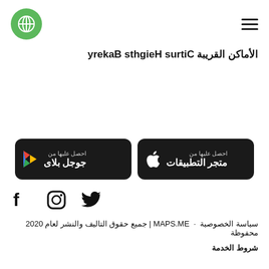[Figure (logo): MAPS.ME green circular logo with white X/crosshair icon]
الأماكن القريبة Citrus Heights Bakery
[Figure (screenshot): Two app store download buttons side by side on dark background. Left: Apple App Store - احصل عليها من متجر التطبيقات. Right: Google Play - احصل عليها من جوجل بلاى]
[Figure (other): Social media icons: Facebook, Instagram, Twitter]
سياسة الخصوصية  ·  MAPS.ME | جميع حقوق التاليف والنشر لعام 2020 محفوظة
شروط الخدمة